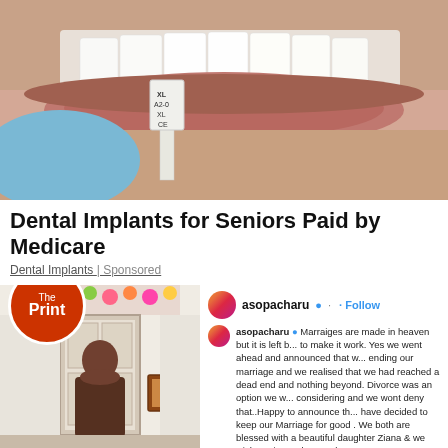[Figure (photo): Close-up photo of a person's mouth with white teeth and someone holding a dental shade guide (labeled XL A2-0 XL CE) next to the teeth]
Dental Implants for Seniors Paid by Medicare
Dental Implants | Sponsored
[Figure (logo): The Print logo — white text on orange-red circle]
[Figure (photo): Photo of a man standing in a decorated room with floral arch and a framed picture on the wall]
asopacharu ● · Follow
asopacharu ● Marraiges are made in heaven but it is left b... to make it work. Yes we went ahead and announced that w... ending our marriage and we realised that we had reached a dead end and nothing beyond. Divorce was an option we w... considering and we wont deny that..Happy to announce th... have decided to keep our Marriage for good . We both are blessed with a beautiful daughter Ziana & we wish to give ... the very best as parents . Her upbringing & happiness is o...